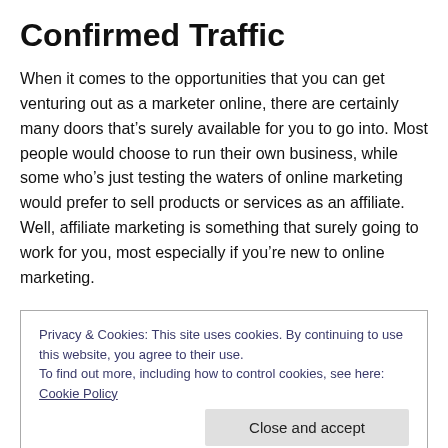Confirmed Traffic
When it comes to the opportunities that you can get venturing out as a marketer online, there are certainly many doors that’s surely available for you to go into. Most people would choose to run their own business, while some who’s just testing the waters of online marketing would prefer to sell products or services as an affiliate. Well, affiliate marketing is something that surely going to work for you, most especially if you’re new to online marketing.
Privacy & Cookies: This site uses cookies. By continuing to use this website, you agree to their use.
To find out more, including how to control cookies, see here: Cookie Policy
mind, they’ve devised a compensation plan for you